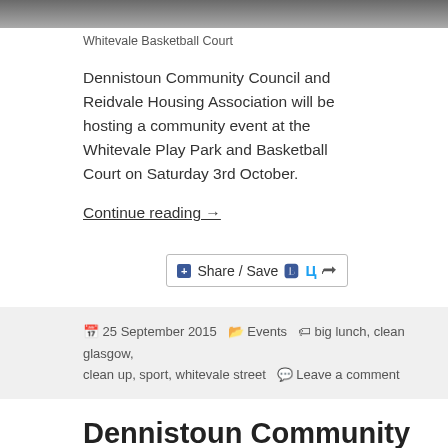[Figure (photo): Top strip showing Whitevale Basketball Court photo (cropped, mostly sky/court)]
Whitevale Basketball Court
Dennistoun Community Council and Reidvale Housing Association will be hosting a community event at the Whitevale Play Park and Basketball Court on Saturday 3rd October.
Continue reading →
[Figure (infographic): Share / Save button with Facebook, Twitter, and share icons]
25 September 2015  Events  big lunch, clean glasgow, clean up, sport, whitevale street  Leave a comment
Dennistoun Community Council Interim Election